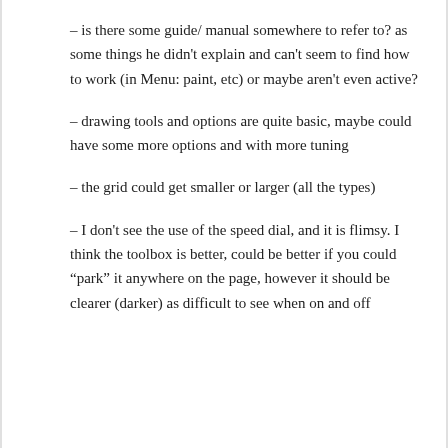– is there some guide/ manual somewhere to refer to? as some things he didn't explain and can't seem to find how to work (in Menu: paint, etc) or maybe aren't even active?
– drawing tools and options are quite basic, maybe could have some more options and with more tuning
– the grid could get smaller or larger (all the types)
– I don't see the use of the speed dial, and it is flimsy. I think the toolbox is better, could be better if you could “park” it anywhere on the page, however it should be clearer (darker) as difficult to see when on and off